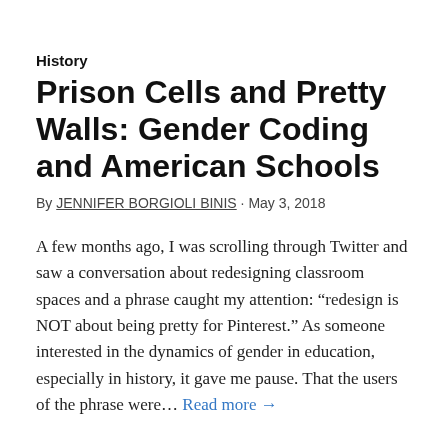History
Prison Cells and Pretty Walls: Gender Coding and American Schools
By JENNIFER BORGIOLI BINIS · May 3, 2018
A few months ago, I was scrolling through Twitter and saw a conversation about redesigning classroom spaces and a phrase caught my attention: “redesign is NOT about being pretty for Pinterest.” As someone interested in the dynamics of gender in education, especially in history, it gave me pause. That the users of the phrase were… Read more →